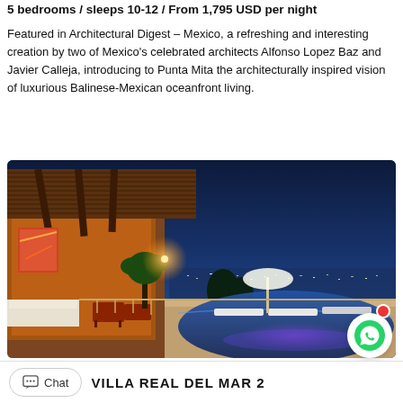5 bedrooms / sleeps 10-12 / From 1,795 USD per night
Featured in Architectural Digest – Mexico, a refreshing and interesting creation by two of Mexico's celebrated architects Alfonso Lopez Baz and Javier Calleja, introducing to Punta Mita the architecturally inspired vision of luxurious Balinese-Mexican oceanfront living.
[Figure (photo): Luxury villa at dusk showing thatched roof, warm interior lighting, outdoor furniture, infinity pool, and panoramic city and ocean view at twilight with deep blue sky.]
VILLA REAL DEL MAR 2